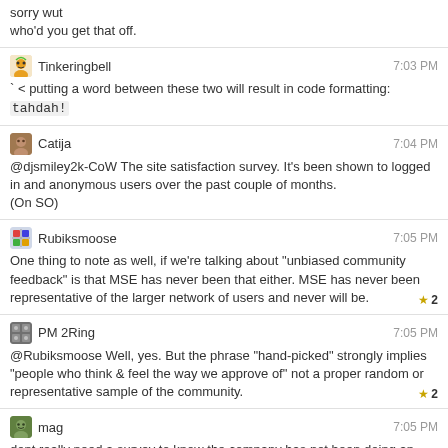sorry wut
who'd you get that off.
Tinkeringbell 7:03 PM
` < putting a word between these two will result in code formatting: tahdah!
Catija 7:04 PM
@djsmiley2k-CoW The site satisfaction survey. It's been shown to logged in and anonymous users over the past couple of months.
(On SO)
Rubiksmoose 7:05 PM
One thing to note as well, if we're talking about "unbiased community feedback" is that MSE has never been that either. MSE has never been representative of the larger network of users and never will be. ★2
PM 2Ring 7:05 PM
@Rubiksmoose Well, yes. But the phrase "hand-picked" strongly implies "people who think & feel the way we approve of" not a proper random or representative sample of the community. ★2
mag 7:05 PM
dont really need a survey to know the company has not been doing an adequate job in the past say 3 years
PM 2Ring 7:06 PM
"MSE has never been representative of the larger network of users and never will be." Ok, that's a valid point. ★